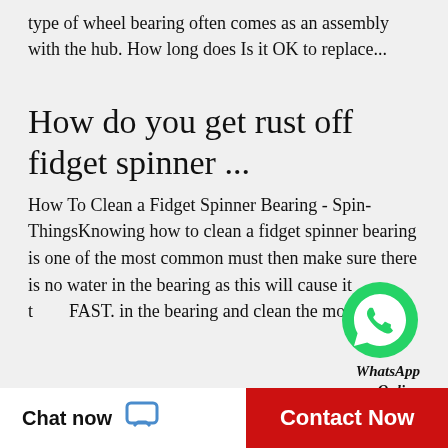type of wheel bearing often comes as an assembly with the hub. How long does Is it OK to replace...
How do you get rust off fidget spinner ...
How To Clean a Fidget Spinner Bearing - Spin-ThingsKnowing how to clean a fidget spinner bearing is one of the most common must then make sure there is no water in the bearing as this will cause it to rust FAST. in the bearing and clean the most part...
[Figure (logo): WhatsApp green phone icon logo]
WhatsApp Online
How long do front wheel bearings last?
How long should sealed wheel bearings last? Eventually, lubrication breakdown and/or wear cause the bearing to fail. Hard driving, specifically hard cornering, can also shorten the life of front wheel bearings. Wheel Bearing Lifespan Since front...
Chat now
Contact Now